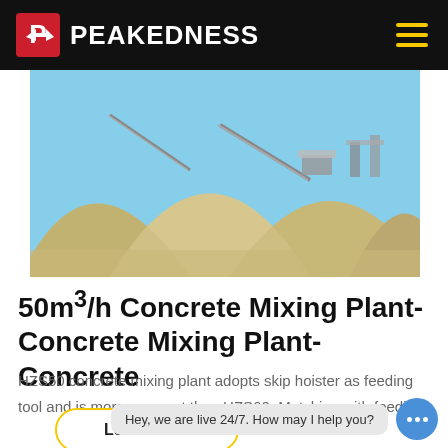PEAKEDNESS
[Figure (photo): Aerial view of large aggregate/sand stockpile mounds at a concrete plant facility with conveyor belts and machinery in the background under a blue sky.]
50m³/h Concrete Mixing Plant-Concrete Mixing Plant-Concrete
HZS50 concrete mixing plant adopts skip hoister as feeding tool and is more compact than HZS60. Matching with feedin…
Learn More
Hey, we are live 24/7. How may I help you?